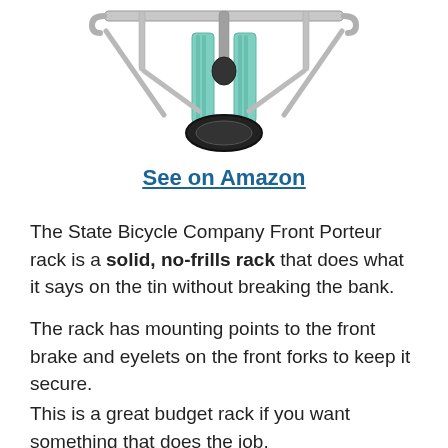[Figure (photo): Top-down view of a State Bicycle Company Front Porteur rack mounted on a mint green bicycle, showing the chrome rack structure and front wheel/fork area]
See on Amazon
The State Bicycle Company Front Porteur rack is a solid, no-frills rack that does what it says on the tin without breaking the bank.
The rack has mounting points to the front brake and eyelets on the front forks to keep it secure.
This is a great budget rack if you want something that does the job.